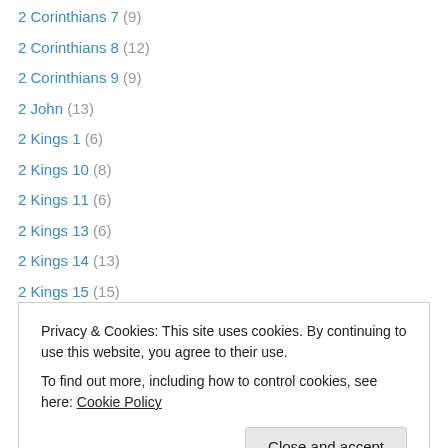2 Corinthians 7 (9)
2 Corinthians 8 (12)
2 Corinthians 9 (9)
2 John (13)
2 Kings 1 (6)
2 Kings 10 (8)
2 Kings 11 (6)
2 Kings 13 (6)
2 Kings 14 (13)
2 Kings 15 (15)
2 Kings 16 (8)
2 Kings 17 (12)
2 Kings 18 (19)
Privacy & Cookies: This site uses cookies. By continuing to use this website, you agree to their use. To find out more, including how to control cookies, see here: Cookie Policy
2 Kings 24 (19)